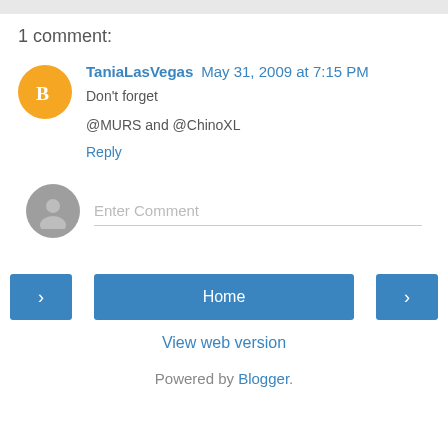1 comment:
TaniaLasVegas May 31, 2009 at 7:15 PM
Don't forget

@MURS and @ChinoXL
Reply
Enter Comment
Home
View web version
Powered by Blogger.